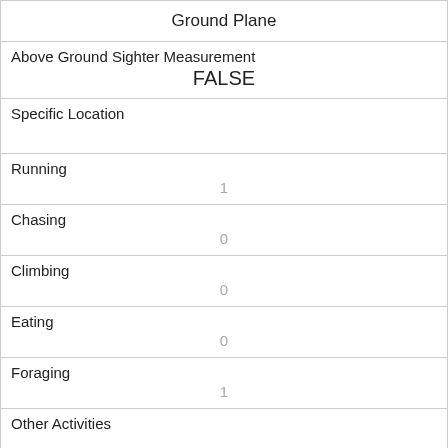| Ground Plane |  |
| Above Ground Sighter Measurement | FALSE |
| Specific Location |  |
| Running | 1 |
| Chasing | 0 |
| Climbing | 0 |
| Eating | 0 |
| Foraging | 1 |
| Other Activities |  |
| Kuks | 1 |
| Quaas | 0 |